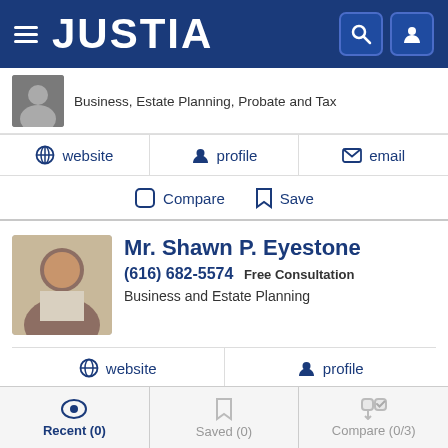JUSTIA
Business, Estate Planning, Probate and Tax
website | profile | email
Compare | Save
Mr. Shawn P. Eyestone
(616) 682-5574 Free Consultation
Business and Estate Planning
website | profile
Compare | Save
Recent (0) | Saved (0) | Compare (0/3)